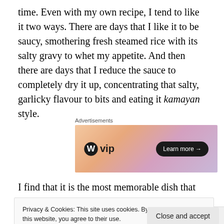time. Even with my own recipe, I tend to like it two ways. There are days that I like it to be saucy, smothering fresh steamed rice with its salty gravy to whet my appetite. And then there are days that I reduce the sauce to completely dry it up, concentrating that salty, garlicky flavour to bits and eating it kamayan style.
[Figure (other): WordPress VIP advertisement banner with gradient orange/pink/purple background, WordPress logo and 'vip' text on left, 'Learn more →' button on right]
I find that it is the most memorable dish that non-Filipinos
Privacy & Cookies: This site uses cookies. By continuing to use this website, you agree to their use.
To find out more, including how to control cookies, see here: Cookie Policy
Close and accept
Follow